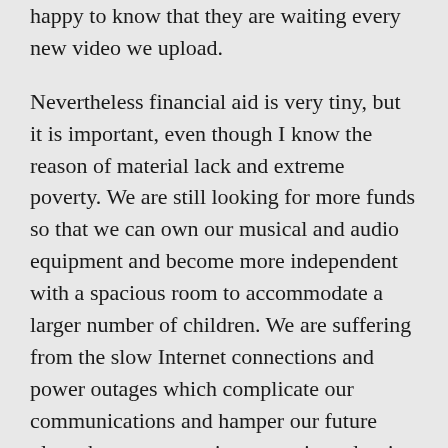happy to know that they are waiting every new video we upload.
Nevertheless financial aid is very tiny, but it is important, even though I know the reason of material lack and extreme poverty. We are still looking for more funds so that we can own our musical and audio equipment and become more independent with a spacious room to accommodate a larger number of children. We are suffering from the slow Internet connections and power outages which complicate our communications and hamper our future plans; however, we aim to continue despite the difficulties.
Our work is a message to show that we insist on living our lives, although it seems impossible, and despite the restricted potential for growth we need